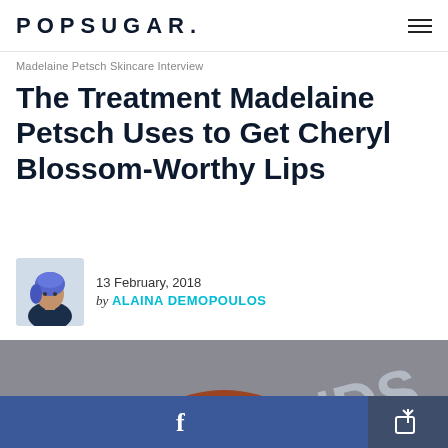POPSUGAR.
Madelaine Petsch Skincare Interview
The Treatment Madelaine Petsch Uses to Get Cheryl Blossom-Worthy Lips
13 February, 2018 by ALAINA DEMOPOULOS
[Figure (photo): Photo of Madelaine Petsch, a woman with red hair, photographed from above showing the top of her head against a grey background with partial text 'VDS' and 'FRI' visible]
[Figure (infographic): Bottom navigation bar with Facebook share button (blue) and a share/forward icon button (dark blue)]